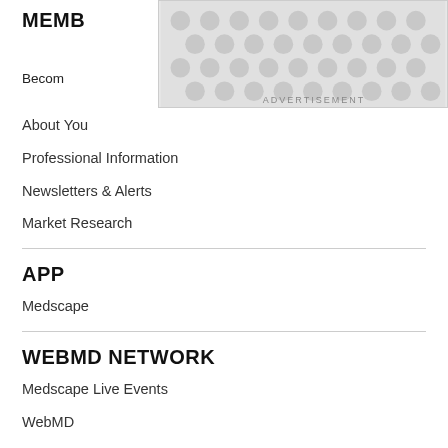MEMB
[Figure (other): Advertisement placeholder with dot/bubble pattern]
Becom
ADVERTISEMENT
About You
Professional Information
Newsletters & Alerts
Market Research
APP
Medscape
WEBMD NETWORK
Medscape Live Events
WebMD
MedicineNet
eMedicineHealth